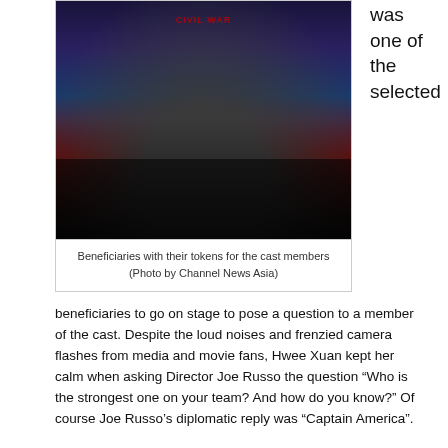[Figure (photo): Group photo of beneficiaries on stage holding tokens/artwork, with cast members and adults, in front of a Captain America: Civil War backdrop]
Beneficiaries with their tokens for the cast members
(Photo by Channel News Asia)
was one of the selected
beneficiaries to go on stage to pose a question to a member of the cast. Despite the loud noises and frenzied camera flashes from media and movie fans, Hwee Xuan kept her calm when asking Director Joe Russo the question “Who is the strongest one on your team? And how do you know?” Of course Joe Russo’s diplomatic reply was “Captain America”.
To commemorate this occasion, APSN was also commissioned to produce two pieces of art work for Chris Evans and Joe Russo. Created by Mr Hairul and students of Katong School, the A3-sized depiction of Captain America’s shield surrounded by Marina Bay